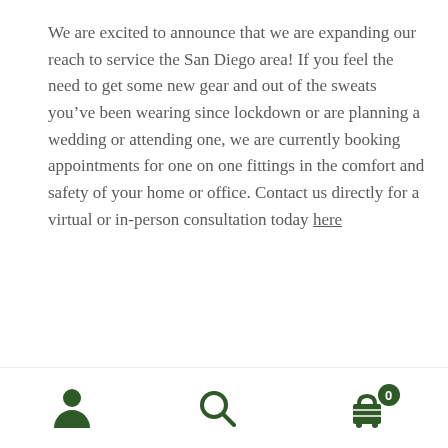We are excited to announce that we are expanding our reach to service the San Diego area! If you feel the need to get some new gear and out of the sweats you’ve been wearing since lockdown or are planning a wedding or attending one, we are currently booking appointments for one on one fittings in the comfort and safety of your home or office. Contact us directly for a virtual or in-person consultation today here
SD mural by Persue
Category: News and Updates
Tags: bespoke, bespoke suit, groom, groomsmen, made to